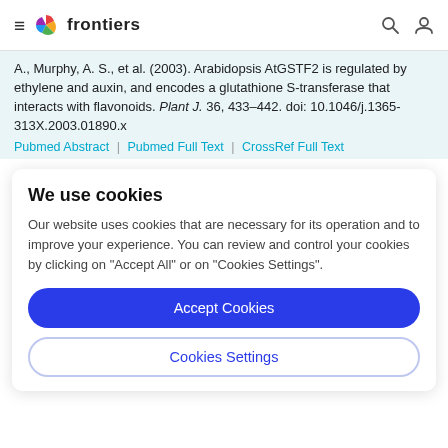frontiers
A., Murphy, A. S., et al. (2003). Arabidopsis AtGSTF2 is regulated by ethylene and auxin, and encodes a glutathione S-transferase that interacts with flavonoids. Plant J. 36, 433–442. doi: 10.1046/j.1365-313X.2003.01890.x
Pubmed Abstract | Pubmed Full Text | CrossRef Full Text
We use cookies
Our website uses cookies that are necessary for its operation and to improve your experience. You can review and control your cookies by clicking on "Accept All" or on "Cookies Settings".
Accept Cookies
Cookies Settings